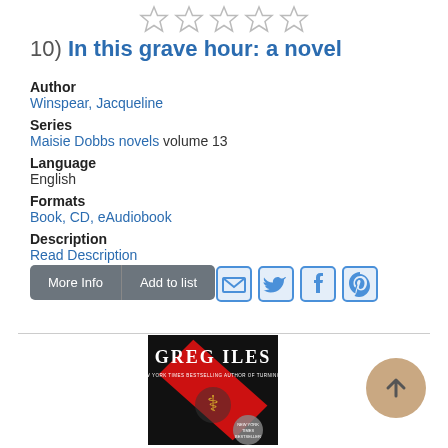[Figure (other): Five empty star rating icons in a row]
10) In this grave hour: a novel
Author
Winspear, Jacqueline
Series
Maisie Dobbs novels volume 13
Language
English
Formats
Book, CD, eAudiobook
Description
Read Description
[Figure (other): More Info and Add to list buttons with social sharing icons (email, Twitter, Facebook, Pinterest)]
[Figure (other): Book cover for a Greg Iles novel with red and black design and medical caduceus symbol]
[Figure (other): Scroll to top button - circular tan/beige button with upward arrow]